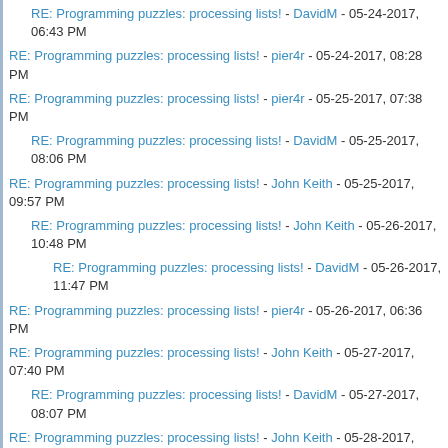RE: Programming puzzles: processing lists! - DavidM - 05-24-2017, 06:43 PM
RE: Programming puzzles: processing lists! - pier4r - 05-24-2017, 08:28 PM
RE: Programming puzzles: processing lists! - pier4r - 05-25-2017, 07:38 PM
RE: Programming puzzles: processing lists! - DavidM - 05-25-2017, 08:06 PM
RE: Programming puzzles: processing lists! - John Keith - 05-25-2017, 09:57 PM
RE: Programming puzzles: processing lists! - John Keith - 05-26-2017, 10:48 PM
RE: Programming puzzles: processing lists! - DavidM - 05-26-2017, 11:47 PM
RE: Programming puzzles: processing lists! - pier4r - 05-26-2017, 06:36 PM
RE: Programming puzzles: processing lists! - John Keith - 05-27-2017, 07:40 PM
RE: Programming puzzles: processing lists! - DavidM - 05-27-2017, 08:07 PM
RE: Programming puzzles: processing lists! - John Keith - 05-28-2017, 06:31 PM
RE: Programming puzzles: processing lists! - DavidM - 05-28-2017, 07:10 PM
RE: Programming puzzles: processing lists! - pier4r - 05-28-2017, 08:03 PM
RE: Programming puzzles: processing lists! - DavidM - 05-28-2017